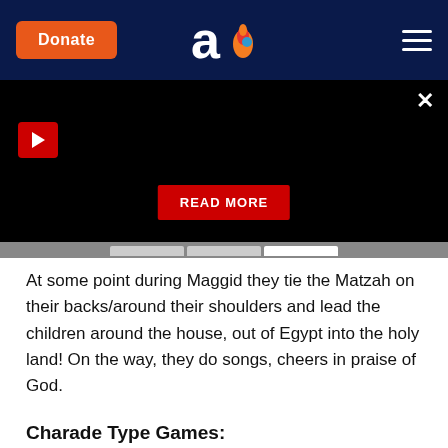Donate | Aish logo | Menu
[Figure (screenshot): Black ad/video overlay panel with a red play button in the top-left, a close X button in the top-right, a red READ MORE button in the center-bottom, and a grey tabs bar at the bottom.]
At some point during Maggid they tie the Matzah on their backs/around their shoulders and lead the children around the house, out of Egypt into the holy land! On the way, they do songs, cheers in praise of God.
Charade Type Games:
Your children can act out the 4 Son's, different plagues, or different people in the Hagaddah.